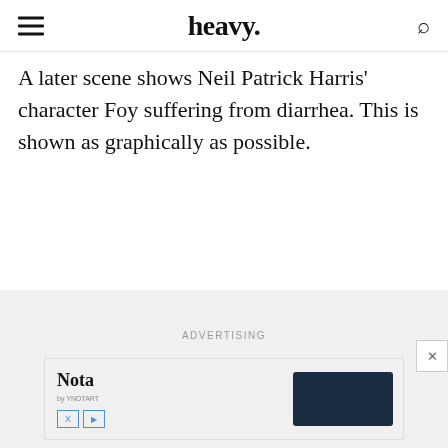heavy.
A later scene shows Neil Patrick Harris’ character Foy suffering from diarrhea. This is shown as graphically as possible.
ADVERTISING
[Figure (other): Advertisement banner with Nota by YNOTART logo on the left, X and play icons below, and a dark navy rectangle on the right. A close (X) button appears in the top right corner of the banner area.]